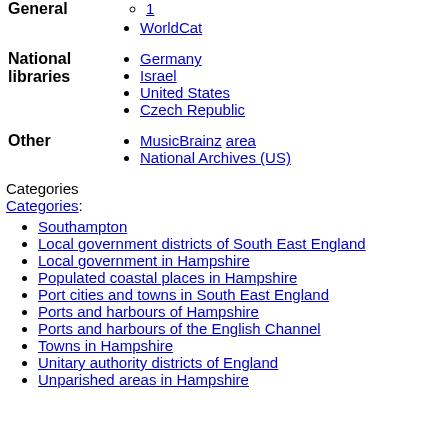1 (sub-item, circle bullet)
WorldCat
Germany
Israel
United States
Czech Republic
MusicBrainz area
National Archives (US)
Categories
Categories:
Southampton
Local government districts of South East England
Local government in Hampshire
Populated coastal places in Hampshire
Port cities and towns in South East England
Ports and harbours of Hampshire
Ports and harbours of the English Channel
Towns in Hampshire
Unitary authority districts of England
Unparished areas in Hampshire